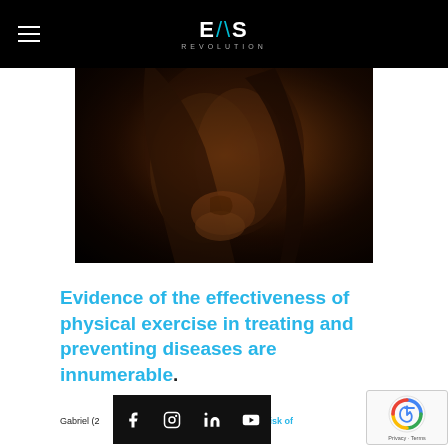EMS REVOLUTION
[Figure (photo): Dark studio photo of a muscular person's back/arm silhouette against dark background, appearing to be stretching or posing]
Evidence of the effectiveness of physical exercise in treating and preventing diseases are innumerable.
Gabriel (2... that training sport reduces the risk of